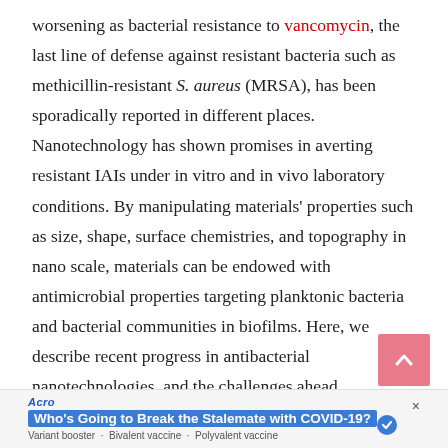worsening as bacterial resistance to vancomycin, the last line of defense against resistant bacteria such as methicillin-resistant S. aureus (MRSA), has been sporadically reported in different places. Nanotechnology has shown promises in averting resistant IAIs under in vitro and in vivo laboratory conditions. By manipulating materials' properties such as size, shape, surface chemistries, and topography in nano scale, materials can be endowed with antimicrobial properties targeting planktonic bacteria and bacterial communities in biofilms. Here, we describe recent progress in antibacterial nanotechnologies, and the challenges ahead.
[Figure (other): Pink/salmon colored scroll-to-top button with upward chevron arrow]
[Figure (screenshot): Advertisement banner: Acro - Who's Going to Break the Stalemate with COVID-19? Variant booster · Bivalent vaccine · Polyvalent vaccine]